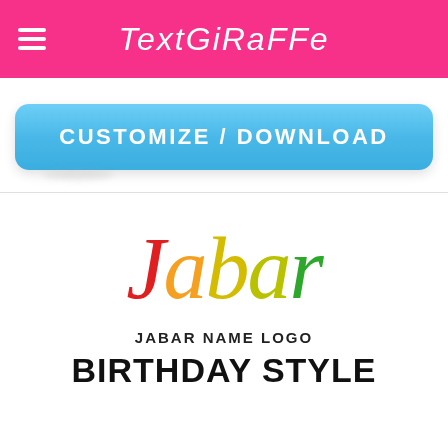TextGiraffe
[Figure (other): Blue rounded button with text CUSTOMIZE / DOWNLOAD]
[Figure (logo): Jabar name logo in birthday style with colorful letters: J in red, a in orange, b in yellow, a in yellow-green, r in green]
JABAR NAME LOGO
BIRTHDAY STYLE